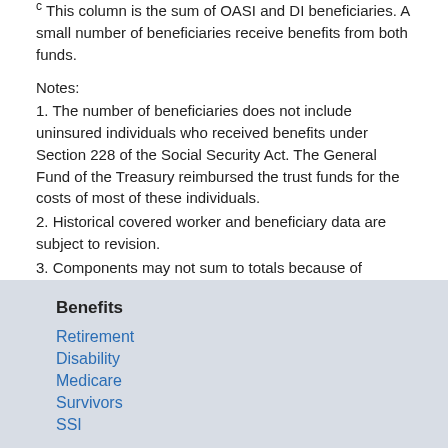c This column is the sum of OASI and DI beneficiaries. A small number of beneficiaries receive benefits from both funds.
Notes:
1. The number of beneficiaries does not include uninsured individuals who received benefits under Section 228 of the Social Security Act. The General Fund of the Treasury reimbursed the trust funds for the costs of most of these individuals.
2. Historical covered worker and beneficiary data are subject to revision.
3. Components may not sum to totals because of rounding.
Benefits
Retirement
Disability
Medicare
Survivors
SSI